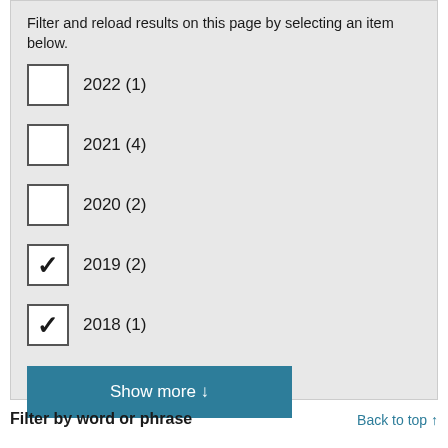Filter and reload results on this page by selecting an item below.
2022 (1)
2021 (4)
2020 (2)
2019 (2) [checked]
2018 (1) [checked]
Show more ↓
Filter by word or phrase
Back to top ↑
Search
Apply